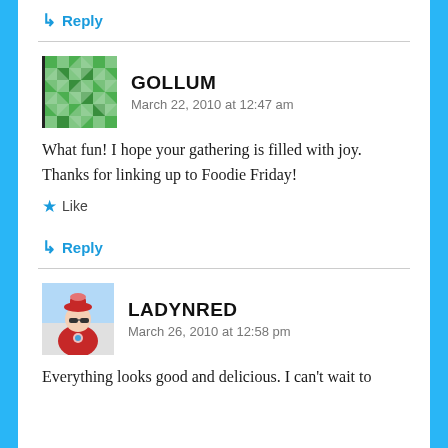↳ Reply
GOLLUM
March 22, 2010 at 12:47 am
What fun! I hope your gathering is filled with joy. Thanks for linking up to Foodie Friday!
★ Like
↳ Reply
LADYNRED
March 26, 2010 at 12:58 pm
Everything looks good and delicious. I can't wait to